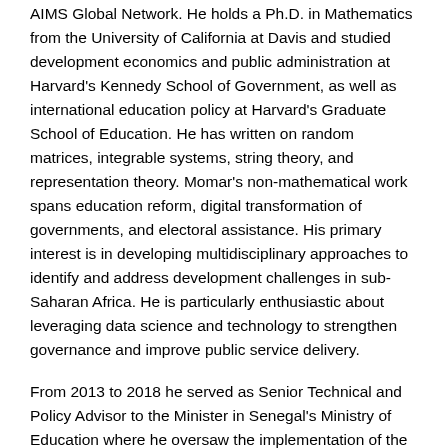AIMS Global Network. He holds a Ph.D. in Mathematics from the University of California at Davis and studied development economics and public administration at Harvard's Kennedy School of Government, as well as international education policy at Harvard's Graduate School of Education. He has written on random matrices, integrable systems, string theory, and representation theory. Momar's non-mathematical work spans education reform, digital transformation of governments, and electoral assistance. His primary interest is in developing multidisciplinary approaches to identify and address development challenges in sub-Saharan Africa. He is particularly enthusiastic about leveraging data science and technology to strengthen governance and improve public service delivery.
From 2013 to 2018 he served as Senior Technical and Policy Advisor to the Minister in Senegal's Ministry of Education where he oversaw the implementation of the nation's education reform agenda and spearheaded ambitious digital transformation initiatives. Prior to returning home to Senegal, Momar was Senior Policy Advisor for UNDP Liberia. In that